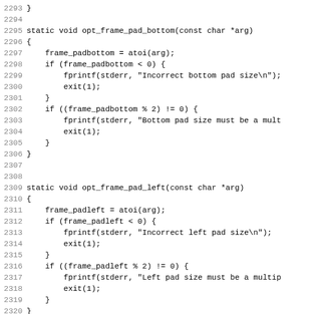Source code listing lines 2293-2324, showing C functions opt_frame_pad_bottom, opt_frame_pad_left, and start of opt_frame_pad_right